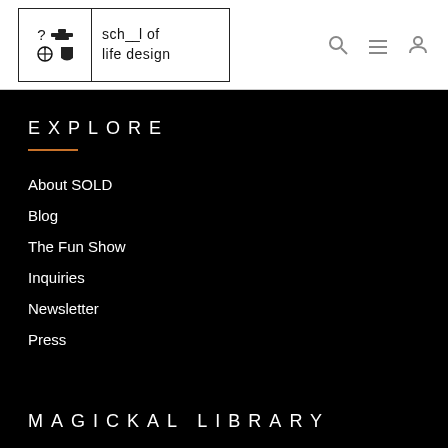[Figure (logo): School of Life Design logo with question mark, compass, ship, and shield icons alongside text 'sch__l of life design']
About SOLD
Blog
The Fun Show
Inquiries
Newsletter
Press
EXPLORE
MAGICKAL LIBRARY